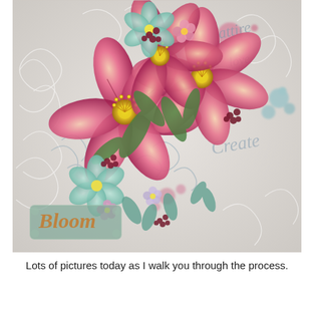[Figure (photo): A floral scrapbook art piece on a pale grey-white textured background with decorative swirl and script embellishments. Large pink and yellow day lilies are arranged diagonally from upper right to lower left, surrounded by smaller teal, pink and mauve flowers, berry clusters, and scripted word embellishments reading 'Bloom', 'Create', and cursive text in the upper right. Splashes of pink and teal paint add a mixed-media effect.]
Lots of pictures today as I walk you through the process.